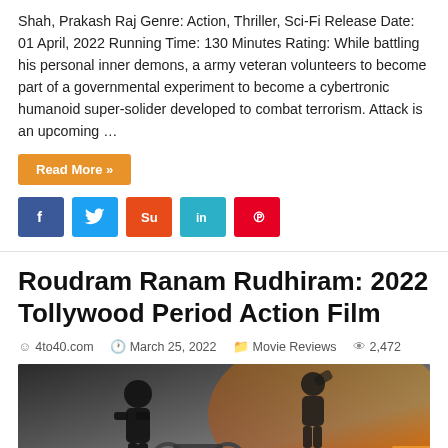Shah, Prakash Raj Genre: Action, Thriller, Sci-Fi Release Date: 01 April, 2022 Running Time: 130 Minutes Rating: While battling his personal inner demons, a army veteran volunteers to become part of a governmental experiment to become a cybertronic humanoid super-solider developed to combat terrorism. Attack is an upcoming …
Read More »
[Figure (other): Social media share buttons: Facebook (blue), Twitter (light blue), StumbleUpon (orange-red), LinkedIn (cyan), Pinterest (red)]
Roudram Ranam Rudhiram: 2022 Tollywood Period Action Film
4to40.com  March 25, 2022  Movie Reviews  2,472
[Figure (photo): Movie promotional image for Roudram Ranam Rudhiram showing dark silhouettes of action figures against a fiery orange background with text S S RAJA S]